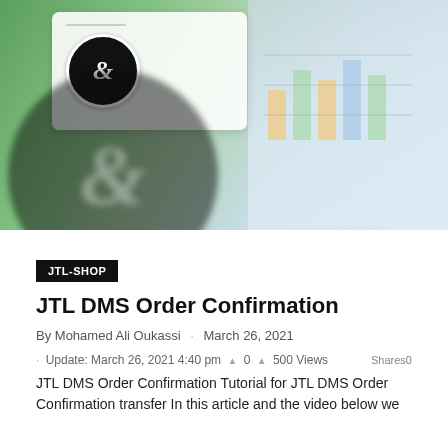[Figure (photo): Hero banner image showing a blurred green/teal background with a white card overlay featuring an ampersand badge logo, and a large blurred circular watermark logo in the foreground. Right side shows hands pointing at charts/graphs on a desk.]
JTL-SHOP
JTL DMS Order Confirmation
By Mohamed Ali Oukassi · March 26, 2021
· Update: March 26, 2021 4:40 pm  0  500 Views
Shares0
JTL DMS Order Confirmation Tutorial for JTL DMS Order Confirmation transfer In this article and the video below we